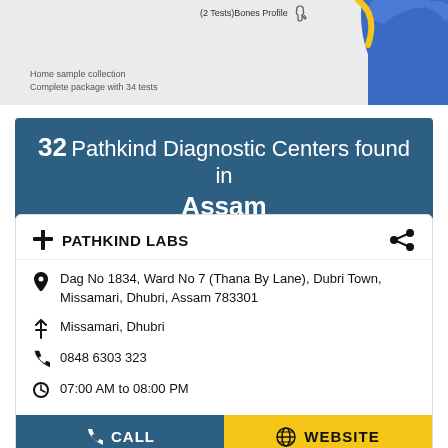[Figure (screenshot): Top banner showing partial lab test package image with blue glove, test tube icon, label '(2 Tests)Bones Profile', and text 'Home sample collection / Complete package with 34 tests']
32 Pathkind Diagnostic Centers found in Assam
PATHKIND LABS
Dag No 1834, Ward No 7 (Thana By Lane), Dubri Town, Missamari, Dhubri, Assam 783301
Missamari, Dhubri
0848 6303 323
07:00 AM to 08:00 PM
CALL
WEBSITE